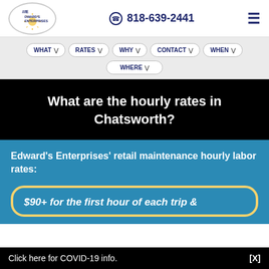[Figure (logo): Edward's Enterprises logo in oval/ellipse shape]
818-639-2441
WHAT
RATES
WHY
CONTACT
WHEN
WHERE
What are the hourly rates in Chatsworth?
Edward's Enterprises' retail maintenance hourly labor rates:
$90+ for the first hour of each trip &
Click here for COVID-19 info.